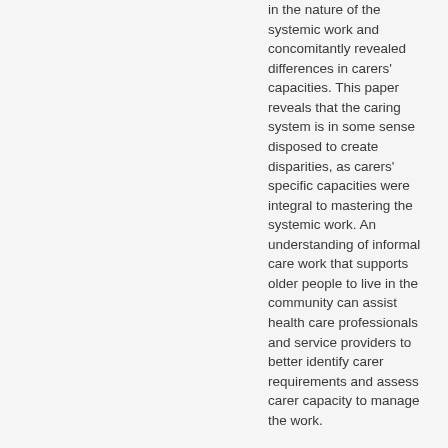in the nature of the systemic work and concomitantly revealed differences in carers' capacities. This paper reveals that the caring system is in some sense disposed to create disparities, as carers' specific capacities were integral to mastering the systemic work. An understanding of informal care work that supports older people to live in the community can assist health care professionals and service providers to better identify carer requirements and assess carer capacity to manage the work.